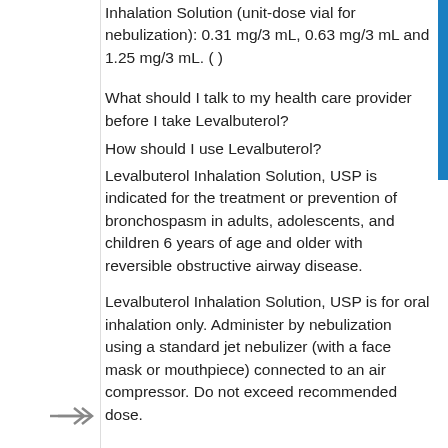Inhalation Solution (unit-dose vial for nebulization): 0.31 mg/3 mL, 0.63 mg/3 mL and 1.25 mg/3 mL. ( )
What should I talk to my health care provider before I take Levalbuterol?
How should I use Levalbuterol?
Levalbuterol Inhalation Solution, USP is indicated for the treatment or prevention of bronchospasm in adults, adolescents, and children 6 years of age and older with reversible obstructive airway disease.
Levalbuterol Inhalation Solution, USP is for oral inhalation only. Administer by nebulization using a standard jet nebulizer (with a face mask or mouthpiece) connected to an air compressor. Do not exceed recommended dose.